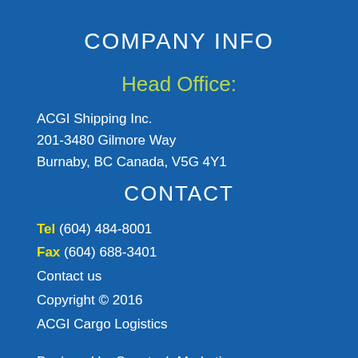COMPANY INFO
Head Office:
ACGI Shipping Inc.
201-3480 Gilmore Way
Burnaby, BC Canada, V5G 4Y1
CONTACT
Tel (604) 484-8001
Fax (604) 688-3401
Contact us
Copyright © 2016
ACGI Cargo Logistics
Designed by Snaptech Marketing